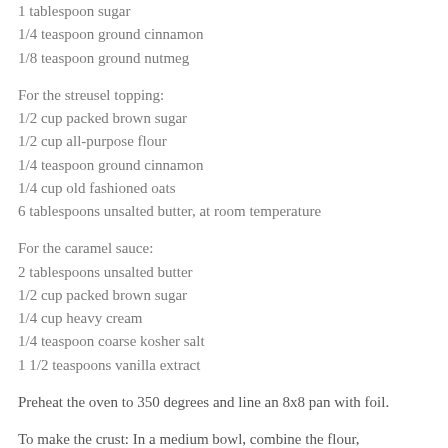1 tablespoon sugar
1/4 teaspoon ground cinnamon
1/8 teaspoon ground nutmeg
For the streusel topping:
1/2 cup packed brown sugar
1/2 cup all-purpose flour
1/4 teaspoon ground cinnamon
1/4 cup old fashioned oats
6 tablespoons unsalted butter, at room temperature
For the caramel sauce:
2 tablespoons unsalted butter
1/2 cup packed brown sugar
1/4 cup heavy cream
1/4 teaspoon coarse kosher salt
1 1/2 teaspoons vanilla extract
Preheat the oven to 350 degrees and line an 8x8 pan with foil.
To make the crust: In a medium bowl, combine the flour,